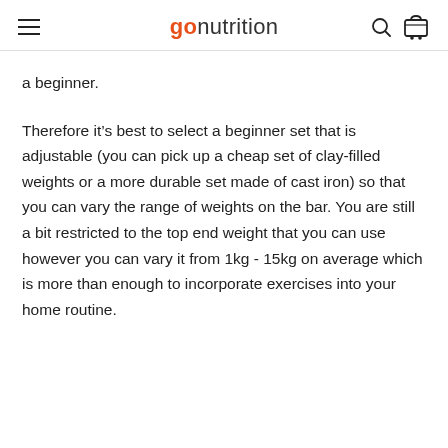gonutrition
a beginner.
Therefore it’s best to select a beginner set that is adjustable (you can pick up a cheap set of clay-filled weights or a more durable set made of cast iron) so that you can vary the range of weights on the bar. You are still a bit restricted to the top end weight that you can use however you can vary it from 1kg - 15kg on average which is more than enough to incorporate exercises into your home routine.